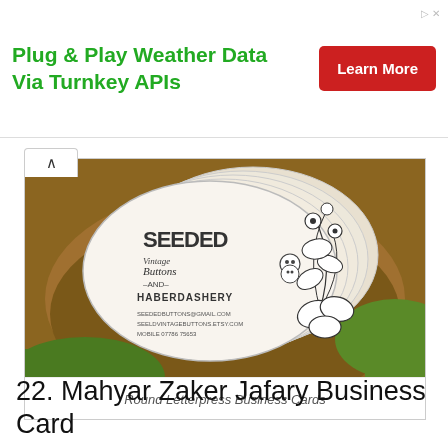[Figure (infographic): Advertisement banner: green bold text 'Plug & Play Weather Data Via Turnkey APIs' on white background, with a red 'Learn More' button on the right]
[Figure (photo): Photo of round letterpress business cards stacked on a wooden surface. The top card reads 'SEEDED Vintage Buttons -AND- HABERDASHERY' with floral illustrations. Cards are white with black ink printing.]
Round Letterpress Business Cards
22. Mahyar Zaker Jafary Business Card